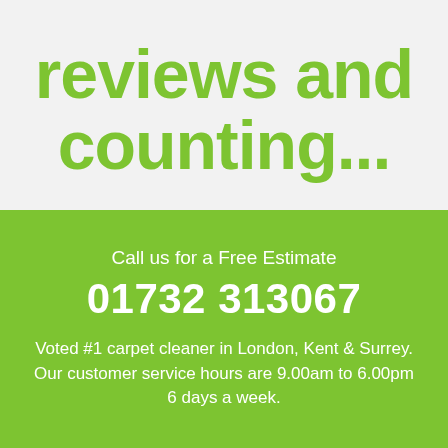reviews and counting...
Call us for a Free Estimate
01732 313067
Voted #1 carpet cleaner in London, Kent & Surrey. Our customer service hours are 9.00am to 6.00pm 6 days a week.